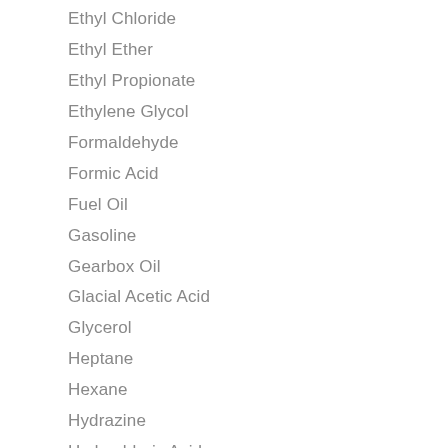Ethyl Chloride
Ethyl Ether
Ethyl Propionate
Ethylene Glycol
Formaldehyde
Formic Acid
Fuel Oil
Gasoline
Gearbox Oil
Glacial Acetic Acid
Glycerol
Heptane
Hexane
Hydrazine
Hydrochloric Acid
Hydrogen Cyanide
Hydrogen Peroxide
Isobutyl Alcohol
Isobutyric Acid